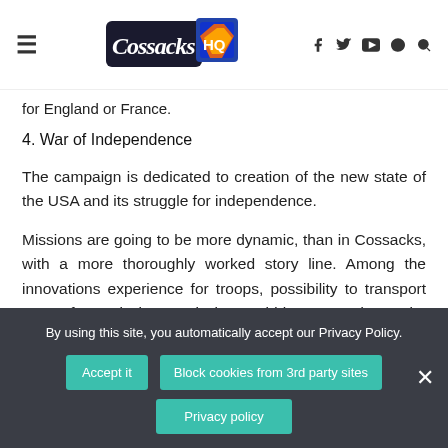Cossacks HQ
for England or France.
4. War of Independence
The campaign is dedicated to creation of the new state of the USA and its struggle for independence.
Missions are going to be more dynamic, than in Cossacks, with a more thoroughly worked story line. Among the innovations experience for troops, possibility to transport troops from mission to mission could be stressed. Despite the rigid structure of buildings, part of
By using this site, you automatically accept our Privacy Policy.
Accept it
Block cookies from 3rd party sites
Privacy policy